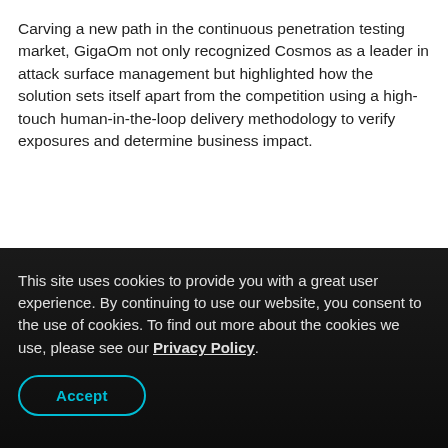Carving a new path in the continuous penetration testing market, GigaOm not only recognized Cosmos as a leader in attack surface management but highlighted how the solution sets itself apart from the competition using a high-touch human-in-the-loop delivery methodology to verify exposures and determine business impact.
This site uses cookies to provide you with a great user experience. By continuing to use our website, you consent to the use of cookies. To find out more about the cookies we use, please see our Privacy Policy.
Accept